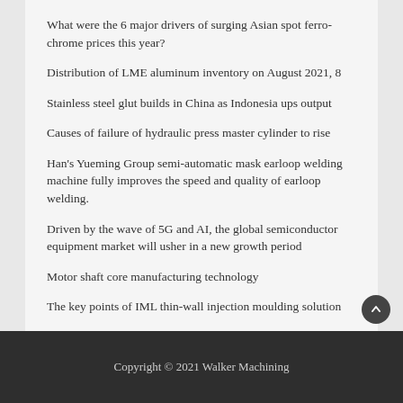What were the 6 major drivers of surging Asian spot ferrochrome prices this year?
Distribution of LME aluminum inventory on August 2021, 8
Stainless steel glut builds in China as Indonesia ups output
Causes of failure of hydraulic press master cylinder to rise
Han's Yueming Group semi-automatic mask earloop welding machine fully improves the speed and quality of earloop welding.
Driven by the wave of 5G and AI, the global semiconductor equipment market will usher in a new growth period
Motor shaft core manufacturing technology
The key points of IML thin-wall injection moulding solution
Copyright © 2021 Walker Machining